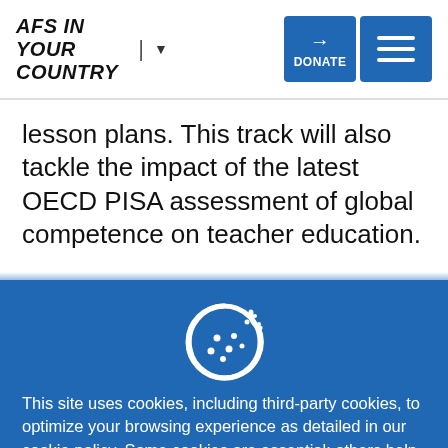AFS IN YOUR COUNTRY | ▼
lesson plans. This track will also tackle the impact of the latest OECD PISA assessment of global competence on teacher education.
[Figure (illustration): White cookie icon with a bite taken out and dots, on blue background]
This site uses cookies, including third-party cookies, to optimize your browsing experience as detailed in our cookie policy. Some cookies are essential; others help us improve your experience by providing insights into how the site is used.
Accept   More Settings